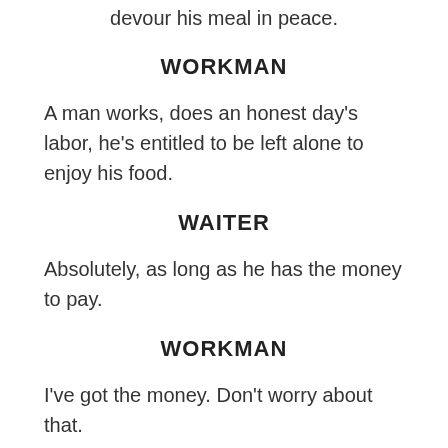devour his meal in peace.
WORKMAN
A man works, does an honest day's labor, he's entitled to be left alone to enjoy his food.
WAITER
Absolutely, as long as he has the money to pay.
WORKMAN
I've got the money. Don't worry about that.
WAITER